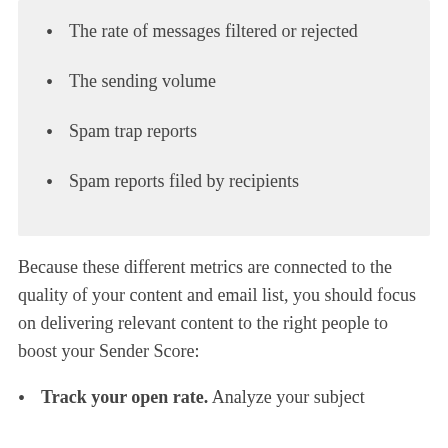The rate of messages filtered or rejected
The sending volume
Spam trap reports
Spam reports filed by recipients
Because these different metrics are connected to the quality of your content and email list, you should focus on delivering relevant content to the right people to boost your Sender Score:
Track your open rate. Analyze your subject